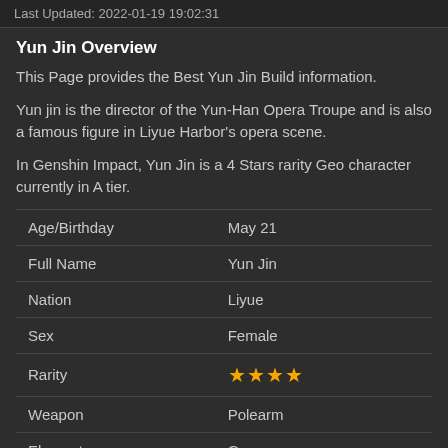Last Updated: 2022-01-19 19:02:31
Yun Jin Overview
This Page provides the Best Yun Jin Build information.
Yun jin is the director of the Yun-Han Opera Troupe and is also a famous figure in Liyue Harbor's opera scene.
In Genshin Impact, Yun Jin is a 4 Stars rarity Geo character currently in A tier.
|  |  |
| --- | --- |
| Age/Birthday | May 21 |
| Full Name | Yun Jin |
| Nation | Liyue |
| Sex | Female |
| Rarity | ★★★★ |
| Weapon | Polearm |
| Element | Geo |
| Constellation | Opera Grandis |
| Special Dish | Cloud-Shrouded Jade |